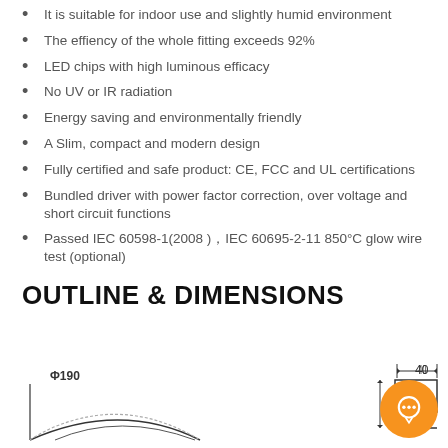It is suitable for indoor use and slightly humid environment
The effiency of the whole fitting exceeds 92%
LED chips with high luminous efficacy
No UV or IR radiation
Energy saving and environmentally friendly
A Slim, compact and modern design
Fully certified and safe product: CE, FCC and UL certifications
Bundled driver with power factor correction, over voltage and short circuit functions
Passed IEC 60598-1(2008 )，IEC 60695-2-11 850°C glow wire test (optional)
OUTLINE & DIMENSIONS
[Figure (engineering-diagram): Outline and dimensions diagram showing a circular fixture with Φ190 diameter marking and a side profile with 40mm width dimension marking]